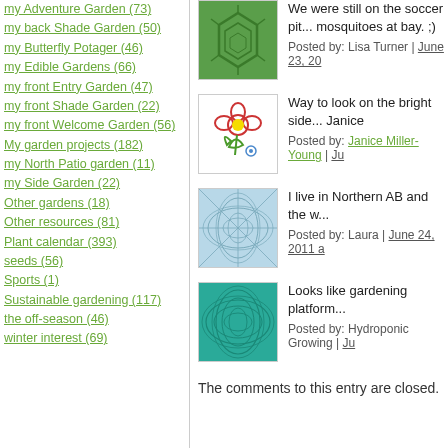my Adventure Garden (73)
my back Shade Garden (50)
my Butterfly Potager (46)
my Edible Gardens (66)
my front Entry Garden (47)
my front Shade Garden (22)
my front Welcome Garden (56)
My garden projects (182)
my North Patio garden (11)
my Side Garden (22)
Other gardens (18)
Other resources (81)
Plant calendar (393)
seeds (56)
Sports (1)
Sustainable gardening (117)
the off-season (46)
winter interest (69)
We were still on the soccer pit... mosquitoes at bay. ;)
Posted by: Lisa Turner | June 23, 20...
[Figure (illustration): Green soccer field/pentagon pattern thumbnail]
Way to look on the bright side... Janice
Posted by: Janice Miller-Young | Ju...
[Figure (illustration): Simple cartoon flower drawing with yellow center and red petals on white background]
I live in Northern AB and the w...
Posted by: Laura | June 24, 2011 a...
[Figure (illustration): Light blue geometric/leaf pattern thumbnail]
Looks like gardening platform...
Posted by: Hydroponic Growing | Ju...
[Figure (illustration): Teal/green spiral/leaf pattern thumbnail]
The comments to this entry are closed.